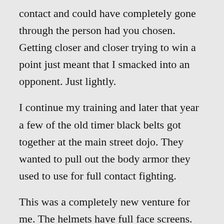contact and could have completely gone through the person had you chosen. Getting closer and closer trying to win a point just meant that I smacked into an opponent. Just lightly.
I continue my training and later that year a few of the old timer black belts got together at the main street dojo. They wanted to pull out the body armor they used to use for full contact fighting.
This was a completely new venture for me. The helmets have full face screens. The chest protectors were hard plastic. Softer material covered the shins. For hands we used the traditional bag gloves. Everyone brought their own cup, thank you very much.
For my next entry, I'll cover off  how some of that experience went.